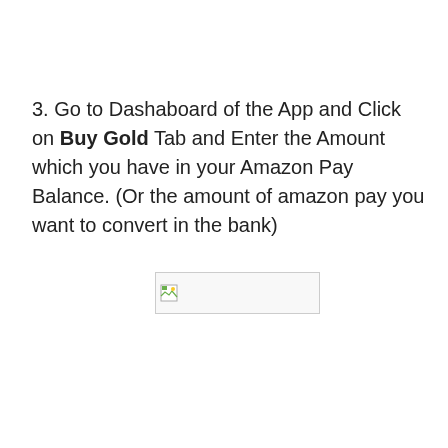3. Go to Dashaboard of the App and Click on Buy Gold Tab and Enter the Amount which you have in your Amazon Pay Balance. (Or the amount of amazon pay you want to convert in the bank)
[Figure (other): Broken image placeholder (image failed to load), shown as a small image icon in the top-left corner of a bordered rectangle]